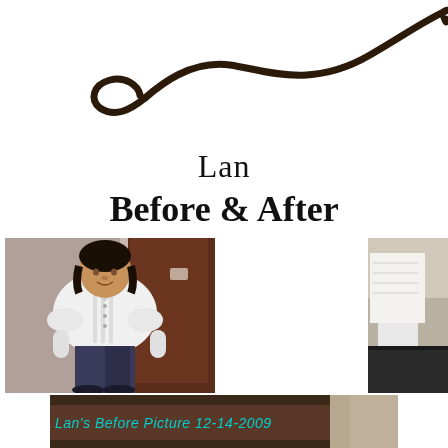[Figure (illustration): Decorative dark brown calligraphic swirl/flourish ornament across the top of the page]
Lan
Before & After
[Figure (photo): Before photo of Lan, a woman in a white button-up shirt and dark pants, standing in front of a dark wooden door]
[Figure (photo): Partial after photo on the right edge, partially cropped]
[Figure (photo): Partial bottom photo showing a room interior]
Lan's Before Picture 12-14-2009